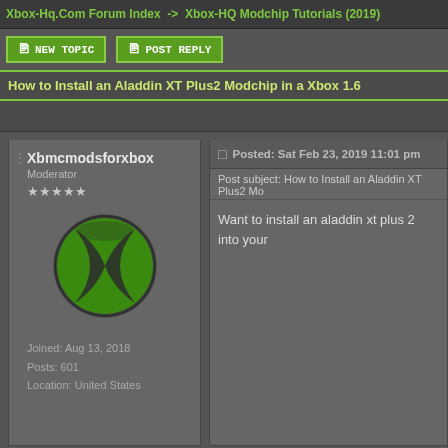Xbox-Hq.Com Forum Index -> Xbox-HQ Modchip Tutorials (2019)
NEW TOPIC   POST REPLY
How to Install an Aladdin XT Plus2 Modchip in a Xbox 1.6
Xbmcmodsforxbox
Moderator
★★★★★
Joined: Aug 13, 2018
Posts: 601
Location: United States
Posted: Sat Feb 23, 2019 11:01 pm
Post subject: How to Install an Aladdin XT Plus2 Mo...
Want to install an aladdin xt plus 2 into your...